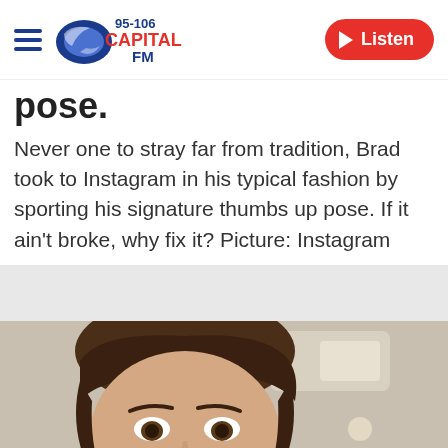95-106 Capital FM | Listen
pose.
Never one to stray far from tradition, Brad took to Instagram in his typical fashion by sporting his signature thumbs up pose. If it ain't broke, why fix it? Picture: Instagram
[Figure (photo): Close-up selfie photo of a young man with brown curly hair, taken inside a car. The photo is cropped showing mainly the face and top of the head.]